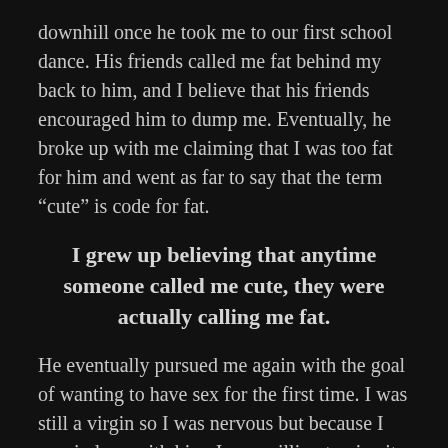downhill once he took me to our first school dance. His friends called me fat behind my back to him, and I believe that his friends encouraged him to dump me. Eventually, he broke up with me claiming that I was too fat for him and went as far to say that the term “cute” is code for fat.
I grew up believing that anytime someone called me cute, they were actually calling me fat.
He eventually pursued me again with the goal of wanting to have sex for the first time. I was still a virgin so I was nervous but because I was in love with him, I was willing to give it to him for the sake of getting him back. We planned to do it after school, in his basement, surrounded by